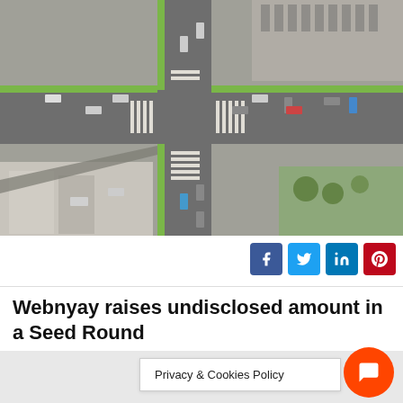[Figure (photo): Aerial top-down view of a busy road intersection with crosswalks, cars, green median strips, and a parking lot visible in the corners]
[Figure (infographic): Social sharing buttons: Facebook (blue), Twitter (light blue), LinkedIn (dark blue), Pinterest (red)]
Webnyay raises undisclosed amount in a Seed Round
Privacy & Cookies Policy